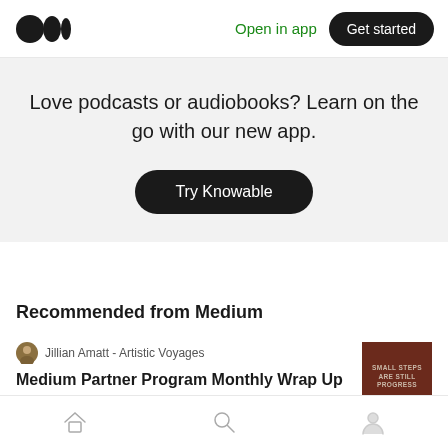Open in app | Get started
Love podcasts or audiobooks? Learn on the go with our new app.
Try Knowable
Recommended from Medium
Jillian Amatt - Artistic Voyages
Medium Partner Program Monthly Wrap Up
Home | Search | Profile